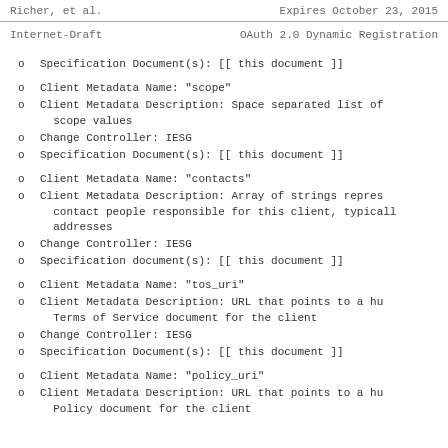Richer, et al.                    Expires October 23, 2015
Internet-Draft        OAuth 2.0 Dynamic Registration
o  Specification Document(s): [[ this document ]]
o  Client Metadata Name: "scope"
o  Client Metadata Description: Space separated list of scope values
o  Change Controller: IESG
o  Specification Document(s): [[ this document ]]
o  Client Metadata Name: "contacts"
o  Client Metadata Description: Array of strings representing contact people responsible for this client, typically addresses
o  Change Controller: IESG
o  Specification document(s): [[ this document ]]
o  Client Metadata Name: "tos_uri"
o  Client Metadata Description: URL that points to a human-readable Terms of Service document for the client
o  Change Controller: IESG
o  Specification Document(s): [[ this document ]]
o  Client Metadata Name: "policy_uri"
o  Client Metadata Description: URL that points to a human-readable Policy document for the client